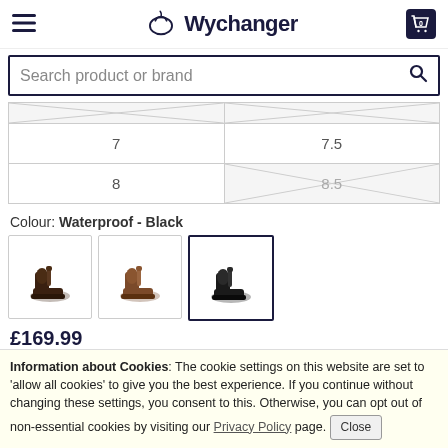Wychanger — navigation header with hamburger menu, logo, and cart badge showing 0
Search product or brand
| 7 | 7.5 |
| 8 | 8.5 (unavailable) |
Colour: Waterproof - Black
[Figure (photo): Three colour variant thumbnail images of ankle boots: dark brown, brown, and black (currently selected with border)]
£169.99 (inc VAT)
Information about Cookies: The cookie settings on this website are set to 'allow all cookies' to give you the best experience. If you continue without changing these settings, you consent to this. Otherwise, you can opt out of non-essential cookies by visiting our Privacy Policy page. Close